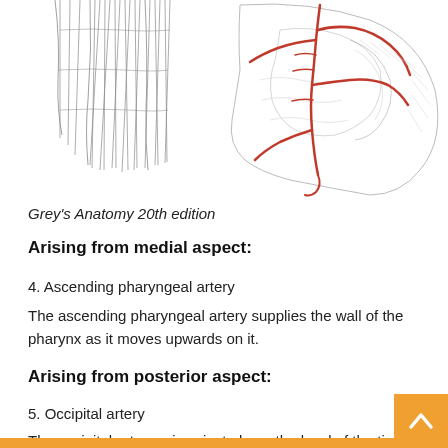[Figure (illustration): Anatomical illustration from Grey's Anatomy showing arterial structures of the neck region with red-highlighted arteries on a black and white line drawing background.]
Grey's Anatomy 20th edition
Arising from medial aspect:
4. Ascending pharyngeal artery
The ascending pharyngeal artery supplies the wall of the pharynx as it moves upwards on it.
Arising from posterior aspect:
5. Occipital artery
The occipital artery arises just above the level of the tip of greater cornu of hyoid bone, opposite the facial artery. It reaches the back of the scalp by passing upwards. It supplies the scalp along with the branches of greater occipital nerve.